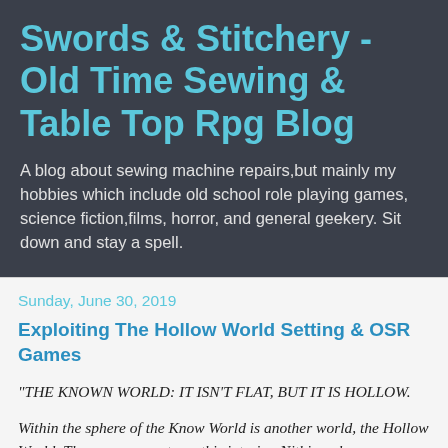Swords & Stitchery - Old Time Sewing & Table Top Rpg Blog
A blog about sewing machine repairs,but mainly my hobbies which include old school role playing games, science fiction,films, horror, and general geekery. Sit down and stay a spell.
Sunday, June 30, 2019
Exploiting The Hollow World Setting & OSR Games
"THE KNOWN WORLD: IT ISN'T FLAT, BUT IT IS HOLLOW.
Within the sphere of the Know World is another world, the Hollow World. The sun never sets on this interior. Nithia, a long